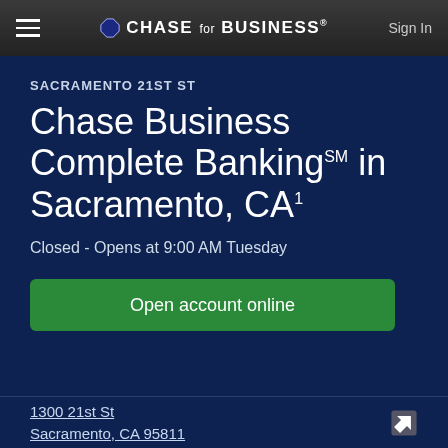CHASE for BUSINESS® — Sign In
SACRAMENTO 21ST ST
Chase Business Complete Banking℠ in Sacramento, CA¹
Closed - Opens at 9:00 AM Tuesday
Open account online
1300 21st St
Sacramento, CA 95811